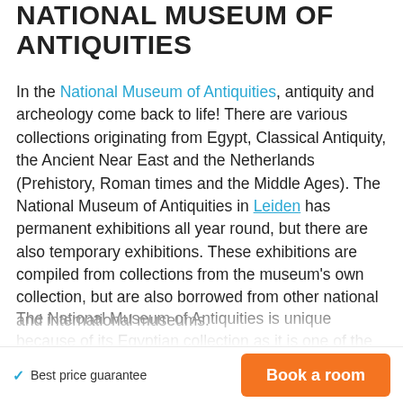NATIONAL MUSEUM OF ANTIQUITIES
In the National Museum of Antiquities, antiquity and archeology come back to life! There are various collections originating from Egypt, Classical Antiquity, the Ancient Near East and the Netherlands (Prehistory, Roman times and the Middle Ages). The National Museum of Antiquities in Leiden has permanent exhibitions all year round, but there are also temporary exhibitions. These exhibitions are compiled from collections from the museum's own collection, but are also borrowed from other national and international museums.
The National Museum of Antiquities is unique because of its Egyptian collection as it is one of the top ten most important Egyptian co…
✓ Best price guarantee  Book a room